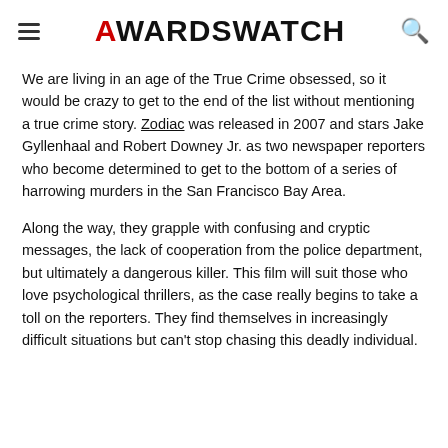AWARDSWATCH
We are living in an age of the True Crime obsessed, so it would be crazy to get to the end of the list without mentioning a true crime story. Zodiac was released in 2007 and stars Jake Gyllenhaal and Robert Downey Jr. as two newspaper reporters who become determined to get to the bottom of a series of harrowing murders in the San Francisco Bay Area.
Along the way, they grapple with confusing and cryptic messages, the lack of cooperation from the police department, but ultimately a dangerous killer. This film will suit those who love psychological thrillers, as the case really begins to take a toll on the reporters. They find themselves in increasingly difficult situations but can't stop chasing this deadly individual.